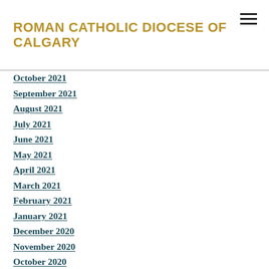ROMAN CATHOLIC DIOCESE OF CALGARY
October 2021
September 2021
August 2021
July 2021
June 2021
May 2021
April 2021
March 2021
February 2021
January 2021
December 2020
November 2020
October 2020
September 2020
August 2020
July 2020